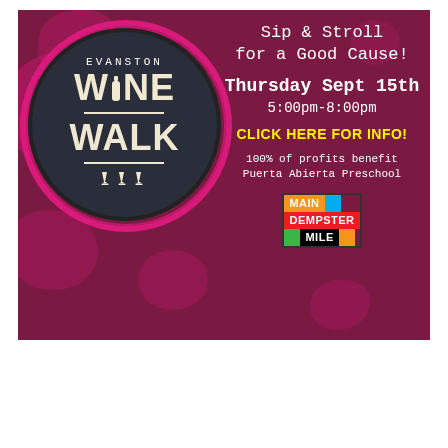[Figure (infographic): Evanston Wine Walk event flyer on a dark magenta/maroon background with pink paint splatter accents. Left side features a circular dark badge with 'EVANSTON WINE WALK' text and wine glass icons. Right side has event details in white text: 'Sip & Stroll for a Good Cause!', 'Thursday Sept 15th', '5:00pm-8:00pm', 'CLICK HERE FOR INFO!', '100% of profits benefit Puerta Abierta Preschool', and the Main Dempster Mile logo.]